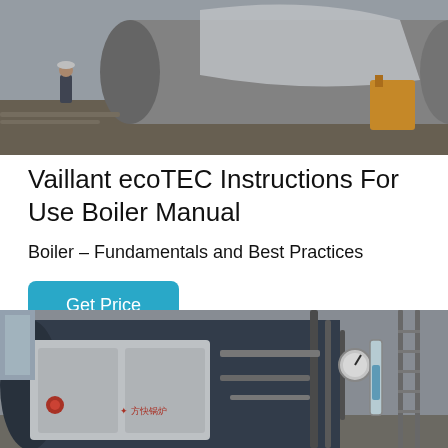[Figure (photo): Industrial boiler construction site photo showing workers and large cylindrical boiler components being assembled outdoors.]
Vaillant ecoTEC Instructions For Use Boiler Manual
Boiler – Fundamentals and Best Practices
Get Price
[Figure (photo): Industrial boiler unit in a facility showing a large cylindrical boiler with Chinese text markings, piping, gauges, and metallic structure.]